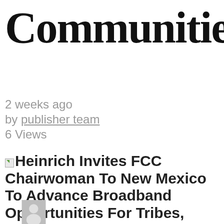Communities
2 weeks ago
by publisher team
6 Views
Heinrich Invites FCC Chairwoman To New Mexico To Advance Broadband Opportunities For Tribes, Rural Communities
[Figure (photo): User avatar placeholder image showing a silhouette of a person on grey background]